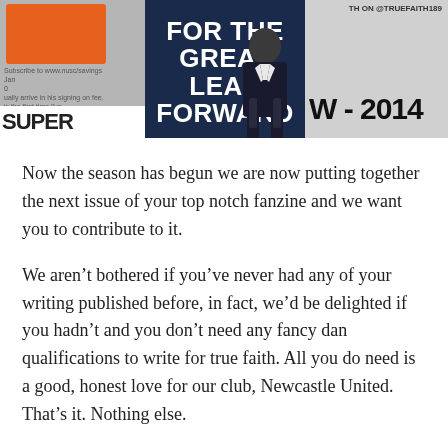[Figure (photo): A horizontal strip of three magazine/fanzine cover images. Left panel shows an orange card with text and 'SUPER' partially visible at bottom. Middle panel shows a dark blue cover with bold white text reading 'FOR THE GREAT LEAP FORWARD' and a person in a suit. Right panel shows a light background with '@TRUEFAITH189' and 'W - 2014' text.]
Now the season has begun we are now putting together the next issue of your top notch fanzine and we want you to contribute to it.
We aren't bothered if you've never had any of your writing published before, in fact, we'd be delighted if you hadn't and you don't need any fancy dan qualifications to write for true faith. All you do need is a good, honest love for our club, Newcastle United. That's it. Nothing else.
We do hope you can entertain, inform and amuse your fellow supporters with your writing. You can write